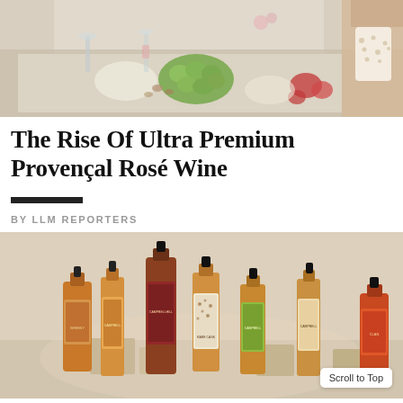[Figure (photo): Photo of an outdoor dining table scene with grapes, fruits, glassware and rosé wine being poured, viewed from above]
The Rise Of Ultra Premium Provençal Rosé Wine
BY LLM REPORTERS
[Figure (photo): Product photo of multiple whisky/spirits bottles arranged on a beige/cream surface with wooden blocks as props]